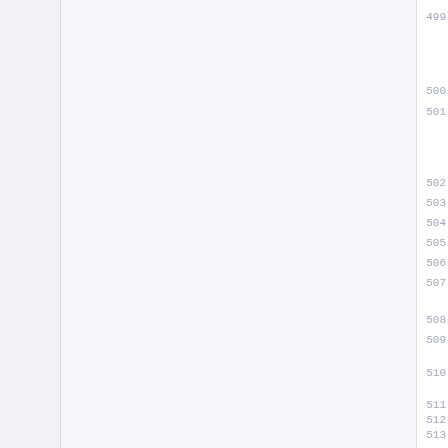499
500
501
502
503
504
505
506
507
508
509
510
511
512
513
514
515
516
517
518